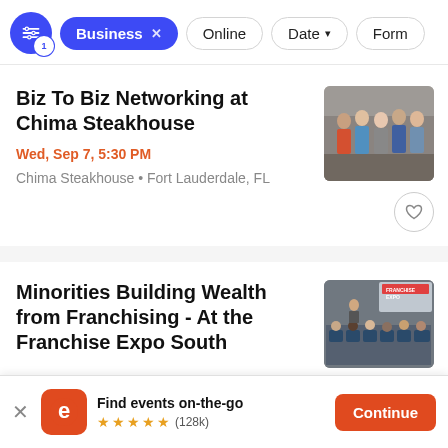[Figure (screenshot): Filter/navigation bar with controls icon, Business filter chip (active, blue), Online chip, Date chip with dropdown arrow, and Form chip (partially visible)]
Biz To Biz Networking at Chima Steakhouse
Wed, Sep 7, 5:30 PM
Chima Steakhouse • Fort Lauderdale, FL
[Figure (photo): Photo of people networking at an event, standing in a venue]
Minorities Building Wealth from Franchising - At the Franchise Expo South
[Figure (photo): Photo of people seated at a conference/expo event with a FRANCHISE EXPO sign visible]
[Figure (screenshot): App download banner: Eventbrite logo, Find events on-the-go, 5 stars (128k), Continue button]